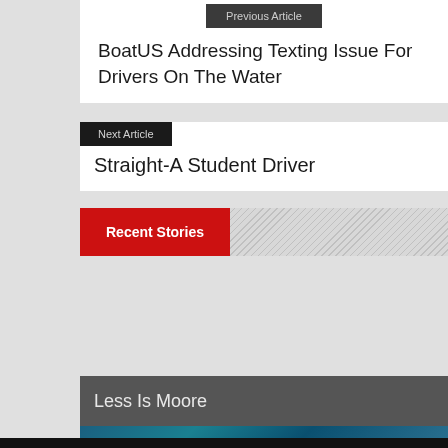Previous Article
BoatUS Addressing Texting Issue For Drivers On The Water
Next Article
Straight-A Student Driver
Recent Stories
Less Is Moore
[Figure (photo): Partial view of a blue water/ocean themed image at the bottom of the page]